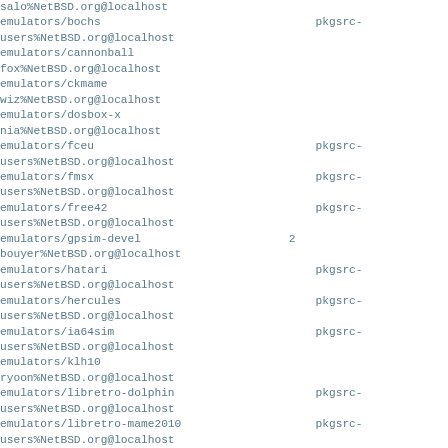salo%NetBSD.org@localhost
emulators/bochs                                        pkgsrc-
users%NetBSD.org@localhost
emulators/cannonball
fox%NetBSD.org@localhost
emulators/ckmame
wiz%NetBSD.org@localhost
emulators/dosbox-x
nia%NetBSD.org@localhost
emulators/fceu                                         pkgsrc-
users%NetBSD.org@localhost
emulators/fmsx                                         pkgsrc-
users%NetBSD.org@localhost
emulators/free42                                       pkgsrc-
users%NetBSD.org@localhost
emulators/gpsim-devel                              2
bouyer%NetBSD.org@localhost
emulators/hatari                                       pkgsrc-
users%NetBSD.org@localhost
emulators/hercules                                     pkgsrc-
users%NetBSD.org@localhost
emulators/ia64sim                                      pkgsrc-
users%NetBSD.org@localhost
emulators/klh10
ryoon%NetBSD.org@localhost
emulators/libretro-dolphin                             pkgsrc-
users%NetBSD.org@localhost
emulators/libretro-mame2010                            pkgsrc-
users%NetBSD.org@localhost
emulators/libretro-mgba